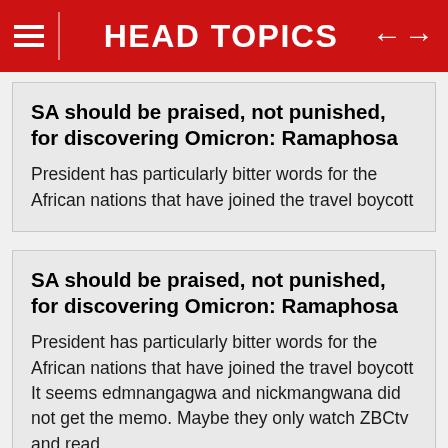HEAD TOPICS
SA should be praised, not punished, for discovering Omicron: Ramaphosa
President has particularly bitter words for the African nations that have joined the travel boycott
SA should be praised, not punished, for discovering Omicron: Ramaphosa
President has particularly bitter words for the African nations that have joined the travel boycott It seems edmnangagwa and nickmangwana did not get the memo. Maybe they only watch ZBCtv and read